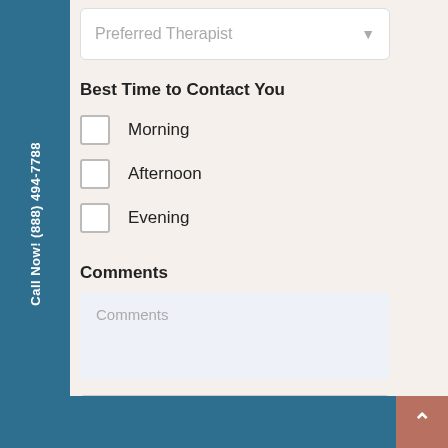[Figure (screenshot): Dropdown field labeled 'Preferred Therapist' with down arrow]
Best Time to Contact You
Morning
Afternoon
Evening
Comments
[Figure (screenshot): Comments text area input box with placeholder text 'Comments']
[Figure (screenshot): reCAPTCHA widget with checkbox 'I'm not a robot' and reCAPTCHA logo with 'reCAPTC' and 'Privacy - Te' text visible]
Call Now! (888) 494-7788